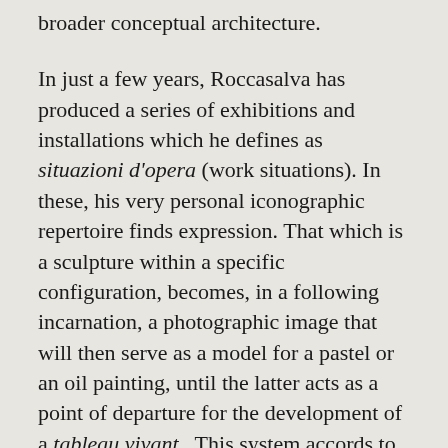broader conceptual architecture.
In just a few years, Roccasalva has produced a series of exhibitions and installations which he defines as situazioni d'opera (work situations). In these, his very personal iconographic repertoire finds expression. That which is a sculpture within a specific configuration, becomes, in a following incarnation, a photographic image that will then serve as a model for a pastel or an oil painting, until the latter acts as a point of departure for the development of a tableau vivant . This system accords to the generative principal that reinforces the idea that iconographic invention is a 'consequential' process throughout which tradition is expressed by fractures and moments of continuity.